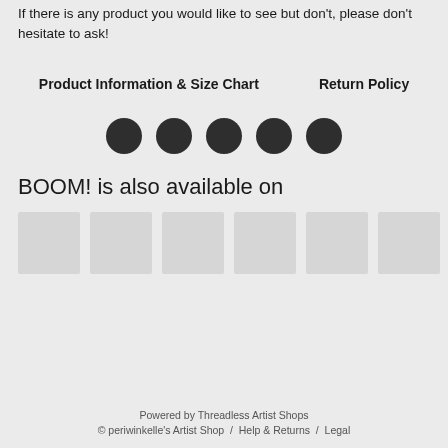If there is any product you would like to see but don't, please don't hesitate to ask!
Product Information & Size Chart     Return Policy
[Figure (other): Five dark circular dots/buttons in a row]
BOOM! is also available on
[Figure (other): Six gray thumbnail image placeholders in a row]
Powered by Threadless Artist Shops
© periwinkelle's Artist Shop / Help & Returns / Legal